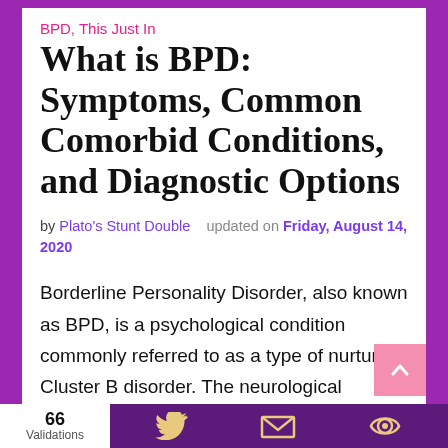BPD, This Just In
What is BPD: Symptoms, Common Comorbid Conditions, and Diagnostic Options
by Plato's Stunt Double   updated on Friday, August 14, 2020
Borderline Personality Disorder, also known as BPD, is a psychological condition commonly referred to as a type of nurtured Cluster B disorder. The neurological affectation is characterized by the problematic person's
66 Validations